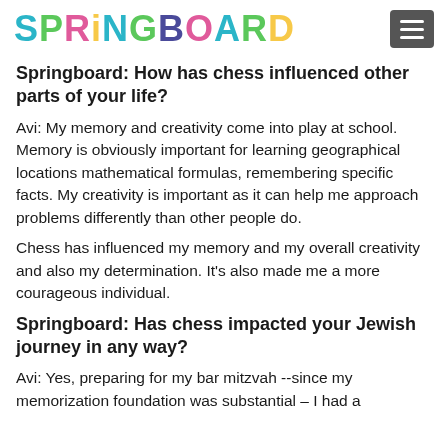SPRINGBOARD
Springboard: How has chess influenced other parts of your life?
Avi: My memory and creativity come into play at school. Memory is obviously important for learning geographical locations mathematical formulas, remembering specific facts. My creativity is important as it can help me approach problems differently than other people do.
Chess has influenced my memory and my overall creativity and also my determination. It's also made me a more courageous individual.
Springboard: Has chess impacted your Jewish journey in any way?
Avi: Yes, preparing for my bar mitzvah --since my memorization foundation was substantial – I had a